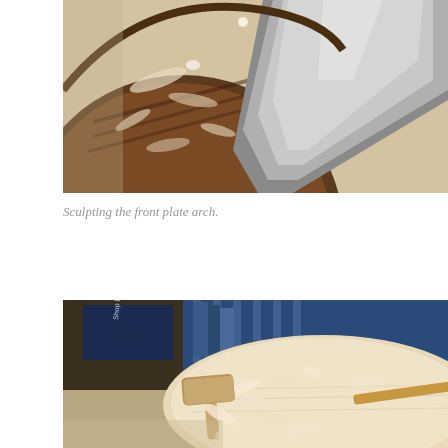[Figure (photo): Close-up photo of a curved wooden plate (lute or guitar front plate) being sculpted, with wood shavings scattered on the surface and a large metallic scraper/chisel tool resting across it.]
Sculpting the front plate arch.
[Figure (photo): Workshop photo showing a rounded wooden plate blank with wood shavings scattered around it, a wooden mallet, a chisel, and shelves with books and materials in the background including a 'Shop Light' box.]